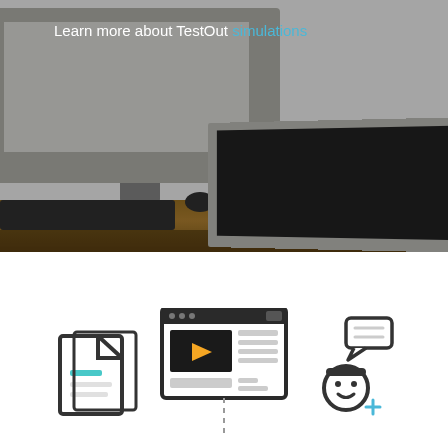[Figure (photo): Photo of a desktop computer setup with monitor, keyboard, mouse, and laptop on a wooden desk. Dark background with wood-grain desk surface visible.]
Learn more about TestOut simulations
[Figure (illustration): Three icons at bottom: a document/file icon on the left, a browser window with video player icon in the center (with dashed line below), and a person with speech bubble icon on the right.]